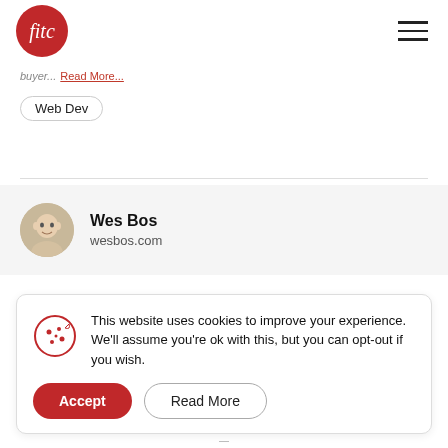fitc logo and hamburger menu
buyer... Read More...
Web Dev
Wes Bos
wesbos.com
This website uses cookies to improve your experience. We'll assume you're ok with this, but you can opt-out if you wish.
Accept  Read More